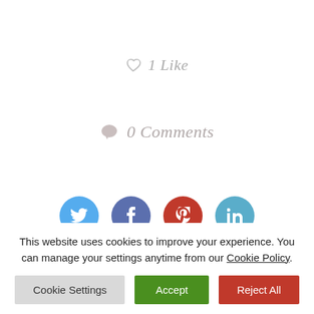1 Like
0 Comments
[Figure (illustration): Row of four social media share buttons: Twitter (blue), Facebook (dark blue), Pinterest (red), LinkedIn (light blue)]
[Figure (illustration): Grey avatar/profile placeholder icon (partial, bottom of page)]
This website uses cookies to improve your experience. You can manage your settings anytime from our Cookie Policy.
Cookie Settings
Accept
Reject All